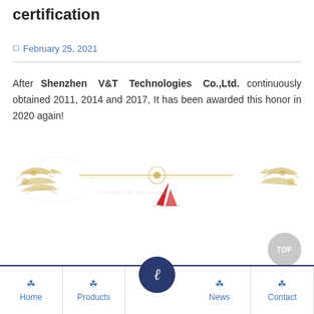certification
February 25, 2021
After Shenzhen V&T Technologies Co.,Ltd. continuously obtained 2011, 2014 and 2017, It has been awarded this honor in 2020 again!
[Figure (illustration): Decorative golden ornamental divider with flourishes on left and right corners, a red sailboat logo in the center area, and golden scrollwork border.]
[Figure (other): Gray circular TOP button in bottom-right area]
Home | Products | (center logo button) | News | Contact